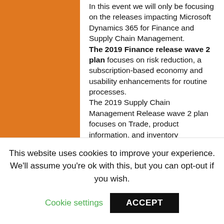In this event we will only be focusing on the releases impacting Microsoft Dynamics 365 for Finance and Supply Chain Management. The 2019 Finance release wave 2 plan focuses on risk reduction, a subscription-based economy and usability enhancements for routine processes. The 2019 Supply Chain Management Release wave 2 plan focuses on Trade, product information, and inventory management, warehouse management, Manufacturing and Planning. In this learning session our Microsoft Dynamics 365 for Finance and Operation experts will walk you through the new
This website uses cookies to improve your experience. We'll assume you're ok with this, but you can opt-out if you wish.
Cookie settings
ACCEPT